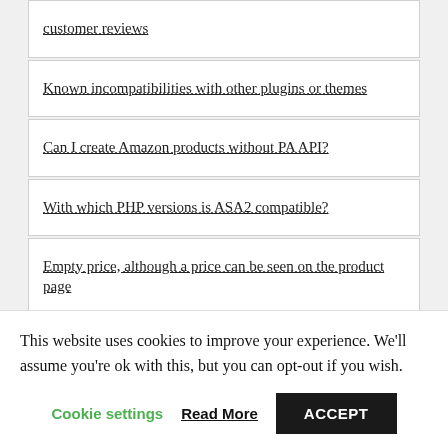customer reviews
Known incompatibilities with other plugins or themes
Can I create Amazon products without PA API?
With which PHP versions is ASA2 compatible?
Empty price, although a price can be seen on the product page
Known conflicts with other plugins or themes
Using ASA2's editor button in Gutenberg editor
This website uses cookies to improve your experience. We'll assume you're ok with this, but you can opt-out if you wish.
Cookie settings    Read More    ACCEPT